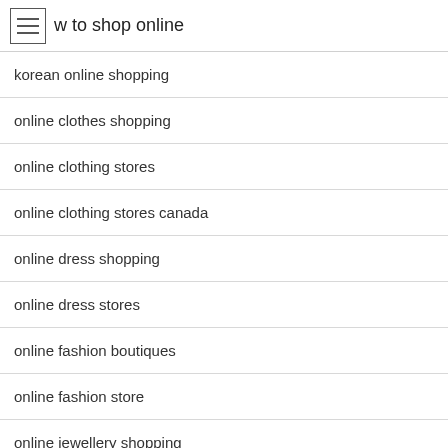w to shop online
korean online shopping
online clothes shopping
online clothing stores
online clothing stores canada
online dress shopping
online dress stores
online fashion boutiques
online fashion store
online jewellery shopping
online shop